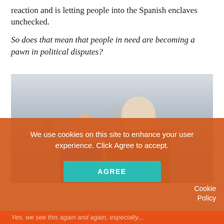reaction and is letting people into the Spanish enclaves unchecked.
So does that mean that people in need are becoming a pawn in political disputes?
[Figure (photo): Two people in conversation: an older bald man with a grey beard wearing a grey suit and dark tie leaning towards a woman with dark shoulder-length hair, in a room with other people in the background.]
We use cookies on this site to enhance your user experience. Click Agree to accept.
AGREE
Cookie Policy
Yes, we see this again and again, especially...